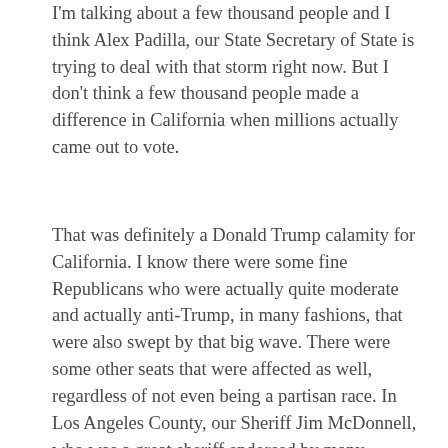I'm talking about a few thousand people and I think Alex Padilla, our State Secretary of State is trying to deal with that storm right now. But I don't think a few thousand people made a difference in California when millions actually came out to vote.
That was definitely a Donald Trump calamity for California. I know there were some fine Republicans who were actually quite moderate and actually anti-Trump, in many fashions, that were also swept by that big wave. There were some other seats that were affected as well, regardless of not even being a partisan race. In Los Angeles County, our Sheriff Jim McDonnell, who was a great sheriff endorsed by many Democrats, suffered and lost to a Latino, in my opinion an unqualified sheriff, because he was a Latino and LA County is majority Latino now. Latinos